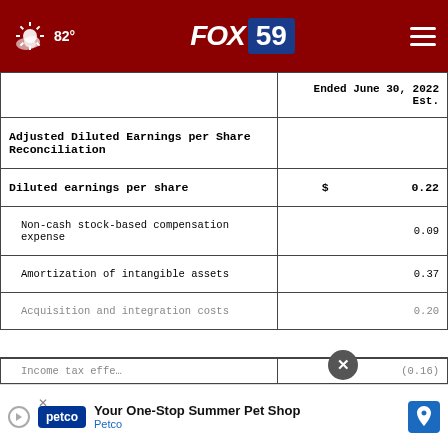FOX 59 | 82°
|  | Ended June 30, 2022 Est. |
| --- | --- |
| Adjusted Diluted Earnings per Share Reconciliation |  |
| Diluted earnings per share | $ 0.22 |
| Non-cash stock-based compensation expense | 0.09 |
| Amortization of intangible assets | 0.37 |
| Acquisition and integration costs | 0.20 |
| Income tax effect | (0.16) |